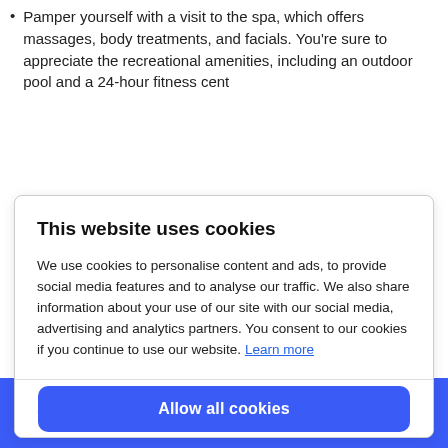Pamper yourself with a visit to the spa, which offers massages, body treatments, and facials. You're sure to appreciate the recreational amenities, including an outdoor pool and a 24-hour fitness cent
This website uses cookies
We use cookies to personalise content and ads, to provide social media features and to analyse our traffic. We also share information about your use of our site with our social media, advertising and analytics partners. You consent to our cookies if you continue to use our website. Learn more
Show details
Allow all cookies